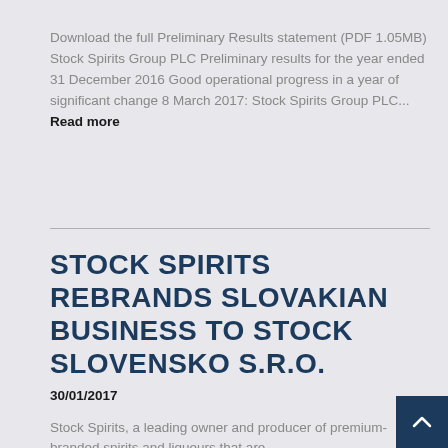Download the full Preliminary Results statement (PDF 1.05MB) Stock Spirits Group PLC Preliminary results for the year ended 31 December 2016 Good operational progress in a year of significant change 8 March 2017: Stock Spirits Group PLC... Read more
STOCK SPIRITS REBRANDS SLOVAKIAN BUSINESS TO STOCK SLOVENSKO S.R.O.
30/01/2017
Stock Spirits, a leading owner and producer of premium-branded spirits and liqueurs that are...